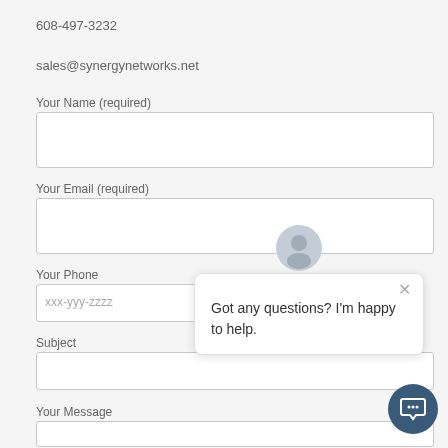608-497-3232
sales@synergynetworks.net
Your Name (required)
Your Email (required)
Your Phone
xxx-yyy-zzzz
Subject
Your Message
[Figure (screenshot): Chat popup with avatar icon, close button, and message: Got any questions? I'm happy to help.]